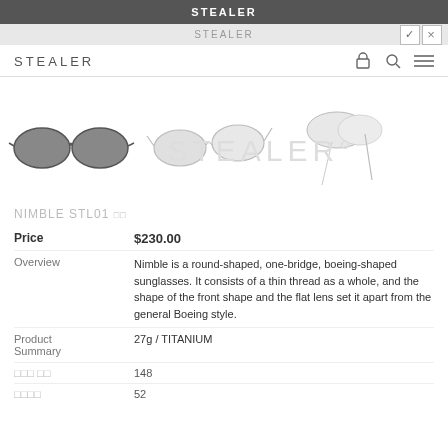STEALER
STEALER
STEALER
[Figure (photo): Three views of the Nimble STL01 sunglasses: dark-tinted front view, silver frame side view, and folded/angled view. STEALER watermark overlaid.]
NIMBLE STL01 □□
| Price | $230.00 |
| Overview | Nimble is a round-shaped, one-bridge, boeing-shaped sunglasses. It consists of a thin thread as a whole, and the shape of the front shape and the flat lens set it apart from the general Boeing style. |
| Product Summary | 27g / TITANIUM |
| □□□ □□ | 148 |
| □□□□ | 52 |